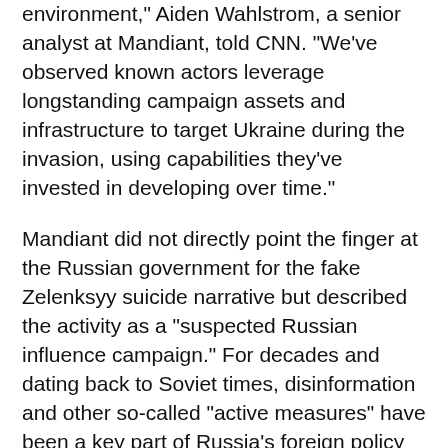environment," Aiden Wahlstrom, a senior analyst at Mandiant, told CNN. "We've observed known actors leverage longstanding campaign assets and infrastructure to target Ukraine during the invasion, using capabilities they've invested in developing over time."
Mandiant did not directly point the finger at the Russian government for the fake Zelenksyy suicide narrative but described the activity as a "suspected Russian influence campaign." For decades and dating back to Soviet times, disinformation and other so-called "active measures" have been a key part of Russia's foreign policy strategy, according to scholars.
Facebook and YouTube in March removed a widely disseminated "deepfake," or digitally altered, video purporting to show Zelenskyy asking Ukrainian troops to lay down their arms. The real Zelenskyy appeared in a video shortly afterward saying the defence of Ukraine continued.